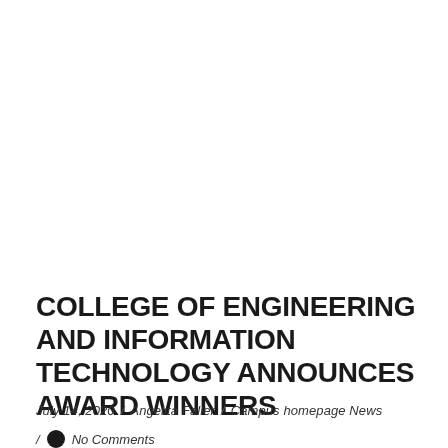COLLEGE OF ENGINEERING AND INFORMATION TECHNOLOGY ANNOUNCES AWARD WINNERS
July 14, 2020 / Angelita Faller / Campus homepage News
No Comments